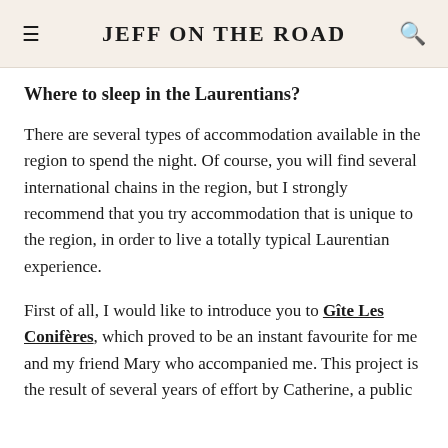JEFF ON THE ROAD
Where to sleep in the Laurentians?
There are several types of accommodation available in the region to spend the night. Of course, you will find several international chains in the region, but I strongly recommend that you try accommodation that is unique to the region, in order to live a totally typical Laurentian experience.
First of all, I would like to introduce you to Gîte Les Conifères, which proved to be an instant favourite for me and my friend Mary who accompanied me. This project is the result of several years of effort by Catherine, a public